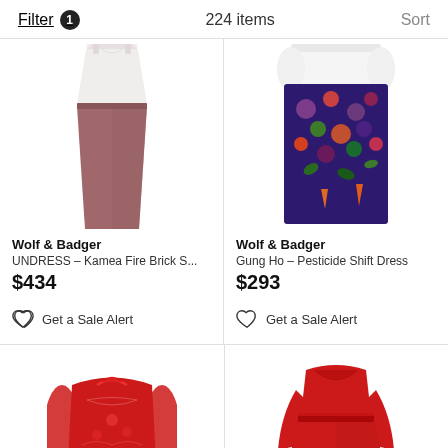Filter 1   224 items   Sort
[Figure (photo): Wolf & Badger UNDRESS Kamea Fire Brick mauve/pink pencil midi skirt with white top, product listing image]
Wolf & Badger
UNDRESS – Kamea Fire Brick S...
$434
Get a Sale Alert
[Figure (photo): Wolf & Badger Gung Ho Pesticide Shift Dress - dark navy/purple with colorful vegetable print, product listing image]
Wolf & Badger
Gung Ho – Pesticide Shift Dress
$293
Get a Sale Alert
[Figure (photo): Red embroidered lace off-shoulder long dress, product listing image]
[Figure (photo): Red long-sleeve v-neck midi dress with empire waist, product listing image]